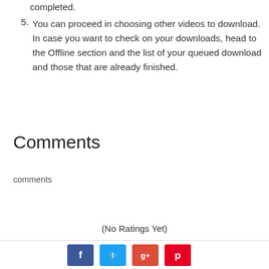completed.
5. You can proceed in choosing other videos to download. In case you want to check on your downloads, head to the Offline section and the list of your queued download and those that are already finished.
Comments
comments
(No Ratings Yet)
[Figure (other): Social media share buttons: Facebook, Twitter, Google+, Pinterest]